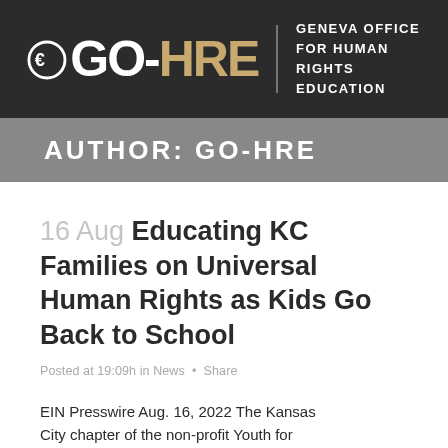[Figure (logo): GO-HRE Geneva Office for Human Rights Education logo on dark background]
AUTHOR: GO-HRE
16 Aug Educating KC Families on Universal Human Rights as Kids Go Back to School
Posted at 19:09h in News • Share
EIN Presswire Aug. 16, 2022 The Kansas City chapter of the non-profit Youth for